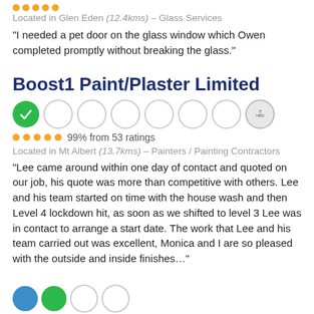....
Located in Glen Eden (12.4kms) – Glass Services
"I needed a pet door on the glass window which Owen completed promptly without breaking the glass."
Boost1 Paint/Plaster Limited
[Figure (other): Row of circular badge icons: one green with checkmark, five empty circles, one small grey badge]
99% from 53 ratings
Located in Mt Albert (13.7kms) – Painters / Painting Contractors
"Lee came around within one day of contact and quoted on our job, his quote was more than competitive with others. Lee and his team started on time with the house wash and then Level 4 lockdown hit, as soon as we shifted to level 3 Lee was in contact to arrange a start date. The work that Lee and his team carried out was excellent, Monica and I are so pleased with the outside and inside finishes…"
[Figure (other): Row of partial circular badge icons at bottom: blue circle, green circle, two empty circles]